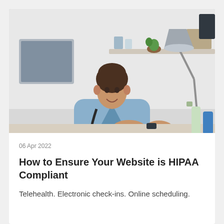[Figure (photo): A female nurse or healthcare professional in blue scrubs with a stethoscope around her neck, smiling, seated at a desk with a laptop, shelves with medical supplies and a plant in the background, a desk lamp visible on the right.]
06 Apr 2022
How to Ensure Your Website is HIPAA Compliant
Telehealth. Electronic check-ins. Online scheduling.